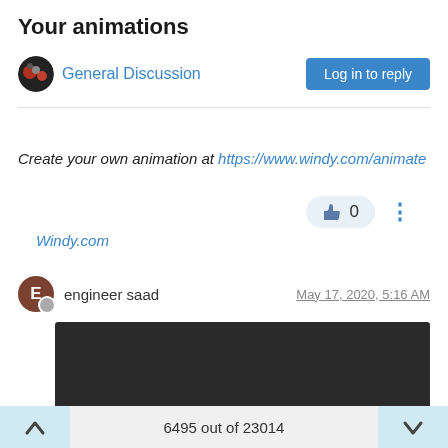Your animations
General Discussion
Log in to reply
Windy.com
Create your own animation at https://www.windy.com/animate
engineer saad   May 17, 2020, 5:16 AM
[Figure (screenshot): Embedded video player with dark background, showing 0:00 timestamp, play button, mute icon, fullscreen icon, and a progress bar at the bottom.]
6495 out of 23014